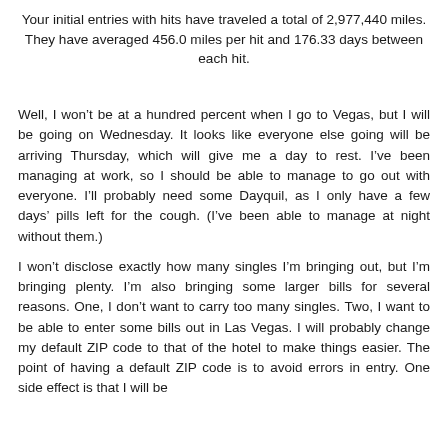Your initial entries with hits have traveled a total of 2,977,440 miles. They have averaged 456.0 miles per hit and 176.33 days between each hit.
Well, I won't be at a hundred percent when I go to Vegas, but I will be going on Wednesday. It looks like everyone else going will be arriving Thursday, which will give me a day to rest. I've been managing at work, so I should be able to manage to go out with everyone. I'll probably need some Dayquil, as I only have a few days' pills left for the cough. (I've been able to manage at night without them.)
I won't disclose exactly how many singles I'm bringing out, but I'm bringing plenty. I'm also bringing some larger bills for several reasons. One, I don't want to carry too many singles. Two, I want to be able to enter some bills out in Las Vegas. I will probably change my default ZIP code to that of the hotel to make things easier. The point of having a default ZIP code is to avoid errors in entry. One side effect is that I will be